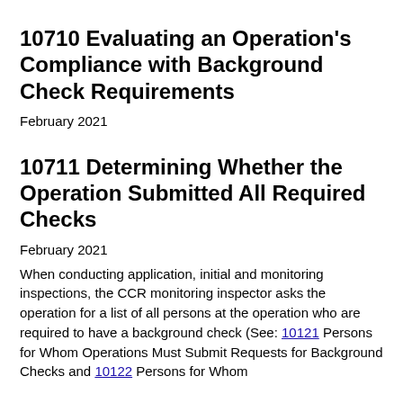10710 Evaluating an Operation's Compliance with Background Check Requirements
February 2021
10711 Determining Whether the Operation Submitted All Required Checks
February 2021
When conducting application, initial and monitoring inspections, the CCR monitoring inspector asks the operation for a list of all persons at the operation who are required to have a background check (See: 10121 Persons for Whom Operations Must Submit Requests for Background Checks and 10122 Persons for Whom